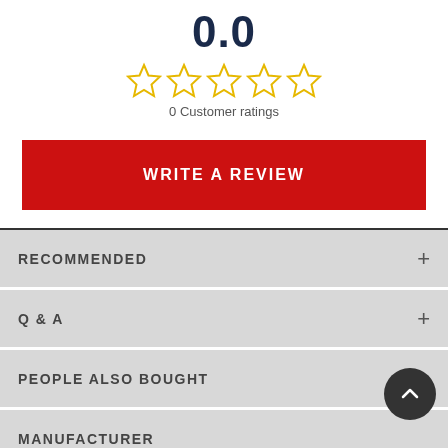0.0
[Figure (other): Five empty star rating icons in gold/yellow outline]
0 Customer ratings
WRITE A REVIEW
RECOMMENDED
Q & A
PEOPLE ALSO BOUGHT
MANUFACTURER